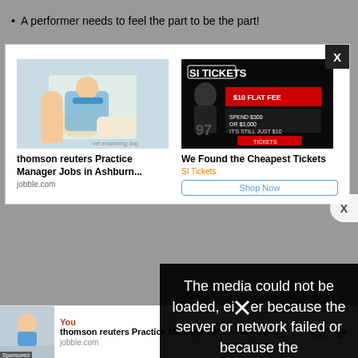A performer needs to feel the part to be the part!
[Figure (screenshot): Advertisement popup with two ad cards: 'thomson reuters Practice Manager Jobs in Ashburn...' from jobble.com (shows vet/doctor image), and 'We Found the Cheapest Tickets' from SI Tickets (shows football player/SI Tickets ad) with a Shop Now button. Popup has a dark X close button in top-right corner.]
[Figure (screenshot): Video error overlay on dark background showing text: 'The media could not be loaded, either because the server or network failed or because the' with a large X mark icon]
[Figure (screenshot): Bottom advertisement bar showing thomson reuters Practice Manager Jobs in Ashburn... from jobble.com with Sponsored label and play/other icons]